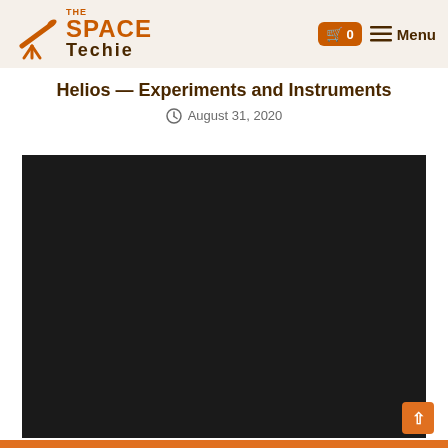The Space Techie — Menu
Helios — Experiments and Instruments
August 31, 2020
[Figure (photo): Dark/black image area, likely a video embed or photograph related to Helios spacecraft experiments and instruments]